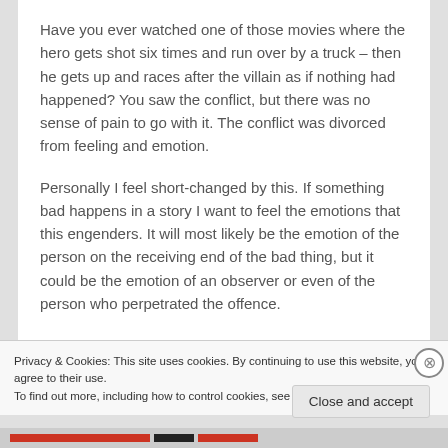Have you ever watched one of those movies where the hero gets shot six times and run over by a truck – then he gets up and races after the villain as if nothing had happened? You saw the conflict, but there was no sense of pain to go with it. The conflict was divorced from feeling and emotion.
Personally I feel short-changed by this. If something bad happens in a story I want to feel the emotions that this engenders. It will most likely be the emotion of the person on the receiving end of the bad thing, but it could be the emotion of an observer or even of the person who perpetrated the offence.
Privacy & Cookies: This site uses cookies. By continuing to use this website, you agree to their use.
To find out more, including how to control cookies, see here: Cookie Policy